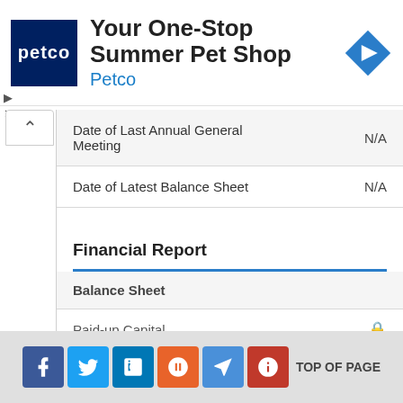[Figure (screenshot): Petco advertisement banner: Your One-Stop Summer Pet Shop]
| Field | Value |
| --- | --- |
| Date of Last Annual General Meeting | N/A |
| Date of Latest Balance Sheet | N/A |
Financial Report
| Item | Value |
| --- | --- |
| Balance Sheet |  |
| Paid-up Capital | 🔒 |
|  | 🔒 |
TOP OF PAGE